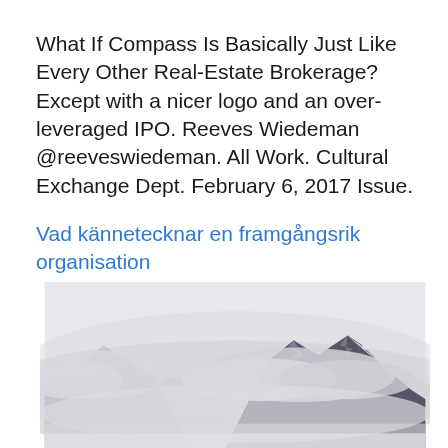What If Compass Is Basically Just Like Every Other Real-Estate Brokerage? Except with a nicer logo and an over-leveraged IPO. Reeves Wiedeman @reeveswiedeman. All Work. Cultural Exchange Dept. February 6, 2017 Issue.
Vad kännetecknar en framgångsrik organisation
[Figure (photo): A misty mountain peak partially obscured by clouds, black and white / desaturated tones, light grey sky background]